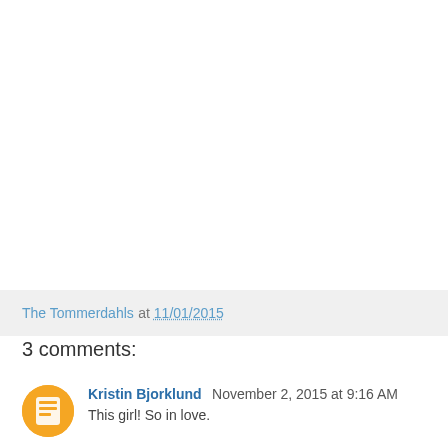The Tommerdahls at 11/01/2015
3 comments:
Kristin Bjorklund November 2, 2015 at 9:16 AM
This girl! So in love.